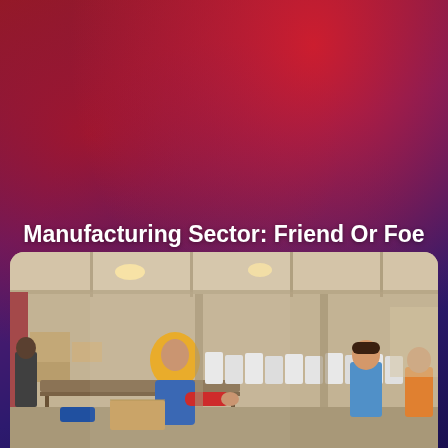[Figure (photo): Hero banner with blurred red and purple/blue gradient background representing a flag blur effect]
Manufacturing Sector: Friend Or Foe In The Pandemic Era
18 Mei 2021 | Artikel
[Figure (photo): Factory floor photo showing workers at assembly stations, a woman in yellow hijab and blue clothing operating machinery, multiple workers handling white products/appliances in a large warehouse-like manufacturing facility]